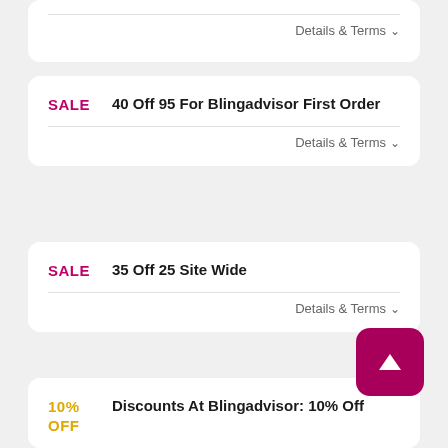Details & Terms ∨
SALE — 40 Off 95 For Blingadvisor First Order
Details & Terms ∨
SALE — 35 Off 25 Site Wide
Details & Terms ∨
10% OFF — Discounts At Blingadvisor: 10% Off